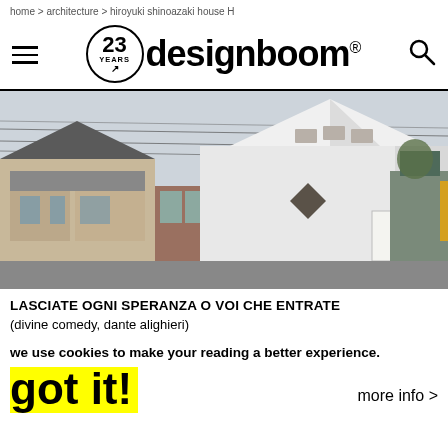home > architecture > hiroyuki shinoazaki house H
[Figure (screenshot): designboom website header with hamburger menu, 23 YEARS logo circle, designboom® wordmark in bold black, and search magnifier icon]
[Figure (photo): Exterior photograph of a modern white angular house with a peaked triangular roof in a Japanese residential neighborhood, surrounded by traditional houses]
LASCIATE OGNI SPERANZA O VOI CHE ENTRATE
(divine comedy, dante alighieri)
we use cookies to make your reading a better experience.
got it!
more info >